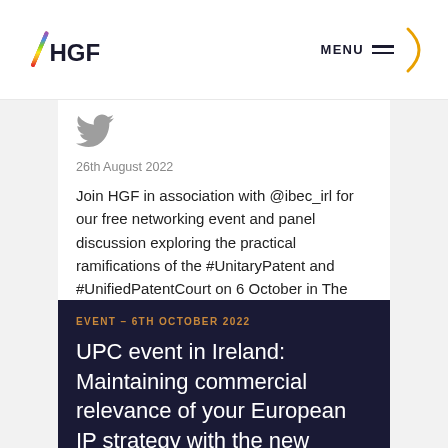HGF | MENU
[Figure (logo): Twitter bird icon in grey]
26th August 2022
Join HGF in association with @ibec_irl for our free networking event and panel discussion exploring the practical ramifications of the #UnitaryPatent and #UnifiedPatentCourt on 6 October in The Guinness Enterprise Centre. Register here: hgf.com/events/upc-eve… #EventsInIreland
FOLLOW HGF ON TWITTER
EVENT – 6TH OCTOBER 2022
UPC event in Ireland: Maintaining commercial relevance of your European IP strategy with the new